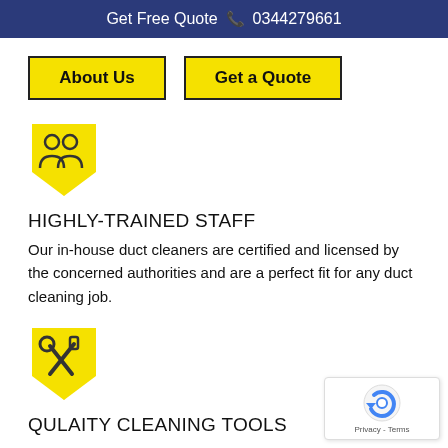Get Free Quote  📞 0344279661
About Us
Get a Quote
[Figure (illustration): Yellow shield icon with two people (group/staff) silhouette]
HIGHLY-TRAINED STAFF
Our in-house duct cleaners are certified and licensed by the concerned authorities and are a perfect fit for any duct cleaning job.
[Figure (illustration): Yellow shield icon with wrench and screwdriver (tools) crossed]
QULAITY CLEANING TOOLS
[Figure (logo): Google reCAPTCHA badge with Privacy and Terms links]